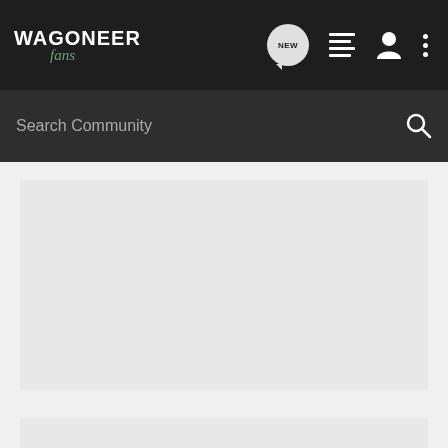WAGONEER fans — navigation bar with NEW, list, person, and more icons
Search Community
[Figure (screenshot): Large light gray content area placeholder block]
[Figure (screenshot): Partial light gray content area visible at bottom of page]